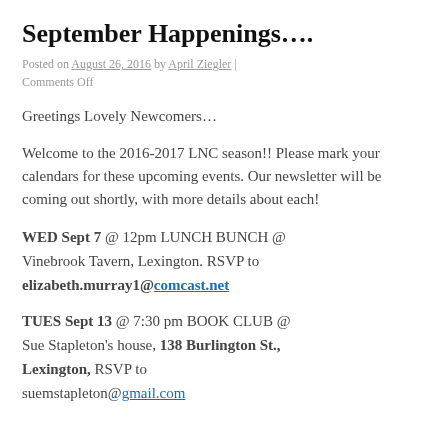September Happenings….
Posted on August 26, 2016 by April Ziegler | Comments Off
Greetings Lovely Newcomers…
Welcome to the 2016-2017 LNC season!! Please mark your calendars for these upcoming events. Our newsletter will be coming out shortly, with more details about each!
WED Sept 7 @ 12pm LUNCH BUNCH @ Vinebrook Tavern, Lexington. RSVP to elizabeth.murray1@comcast.net
TUES Sept 13 @ 7:30 pm BOOK CLUB @ Sue Stapleton's house, 138 Burlington St., Lexington, RSVP to suemstapleton@gmail.com